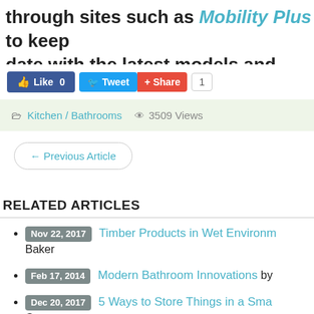through sites such as Mobility Plus to keep date with the latest models and products
[Figure (screenshot): Social sharing buttons: Like 0 (Facebook blue), Tweet (Twitter blue), Share (red), and share count badge showing 1]
Kitchen / Bathrooms  3509 Views
← Previous Article
RELATED ARTICLES
Nov 22, 2017  Timber Products in Wet Environments  Baker
Feb 17, 2014  Modern Bathroom Innovations by
Dec 20, 2017  5 Ways to Store Things in a Small  Guest
Showers vs Baths – What You N...